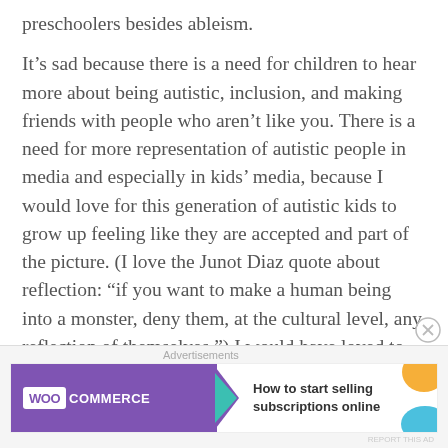preschoolers besides ableism.
It’s sad because there is a need for children to hear more about being autistic, inclusion, and making friends with people who aren’t like you. There is a need for more representation of autistic people in media and especially in kids’ media, because I would love for this generation of autistic kids to grow up feeling like they are accepted and part of the picture. (I love the Junot Diaz quote about reflection: “if you want to make a human being into a monster, deny them, at the cultural level, any reflection of themselves.”) I would have loved to be able to show my kids a good Sesame Street video about being
[Figure (other): WooCommerce advertisement banner: purple background with WooCommerce logo on the left, teal arrow, text 'How to start selling subscriptions online' on the right with orange and blue decorative shapes.]